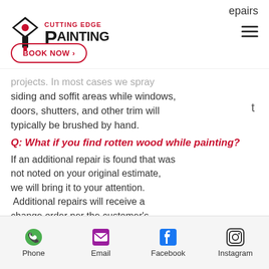[Figure (logo): Cutting Edge Painting logo with paint brush icon]
epairs
BOOK NOW >
t
projects. In most cases we spray siding and soffit areas while windows, doors, shutters, and other trim will typically be brushed by hand.
Q: What if you find rotten wood while painting?
If an additional repair is found that was not noted on your original estimate, we will bring it to your attention.  Additional repairs will receive a change order per the customer's approval.
Q: Do you install gutters?
Yes.  We install 5 or 6" hidden fastener, aluminum gutters and gutter guards
Phone  Email  Facebook  Instagram